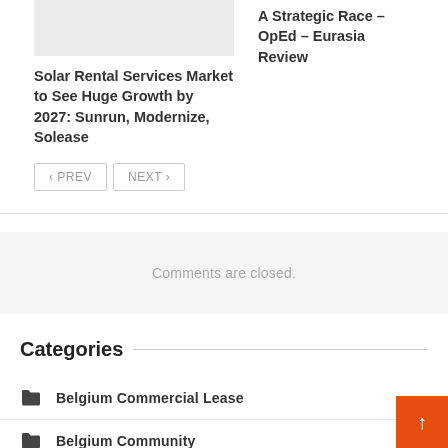Solar Rental Services Market to See Huge Growth by 2027: Sunrun, Modernize, Solease
A Strategic Race – OpEd – Eurasia Review
‹ PREV   NEXT ›
Comments are closed.
Categories
Belgium Commercial Lease
Belgium Community